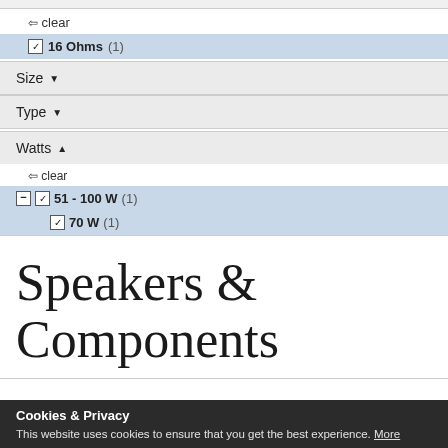← clear
☑ 16 Ohms (1)
Size ▾
Type ▾
Watts ▴
← clear
⊟ ☑ 51 - 100 W (1)
☑ 70 W (1)
Speakers & Components
Cookies & Privacy
This website uses cookies to ensure that you get the best experience. More